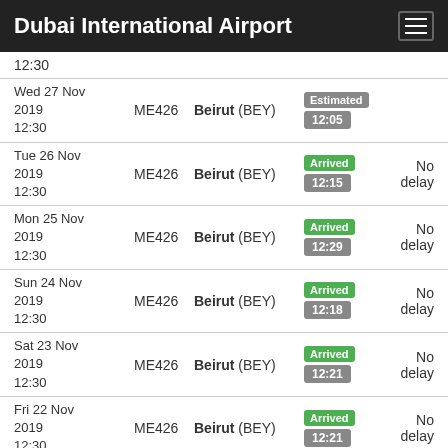Dubai International Airport
12:30
| Date/Time | Flight | Destination | Status | Delay |
| --- | --- | --- | --- | --- |
| Wed 27 Nov 2019 12:30 | ME426 | Beirut (BEY) | Estimated 12:05 |  |
| Tue 26 Nov 2019 12:30 | ME426 | Beirut (BEY) | Arrived 12:15 | No delay |
| Mon 25 Nov 2019 12:30 | ME426 | Beirut (BEY) | Arrived 12:29 | No delay |
| Sun 24 Nov 2019 12:30 | ME426 | Beirut (BEY) | Arrived 12:18 | No delay |
| Sat 23 Nov 2019 12:30 | ME426 | Beirut (BEY) | Arrived 12:21 | No delay |
| Fri 22 Nov 2019 12:30 | ME426 | Beirut (BEY) | Arrived 12:21 | No delay |
| Thu 21 Nov | ME426 | Beirut (BEY) | Arrived | Delay: |